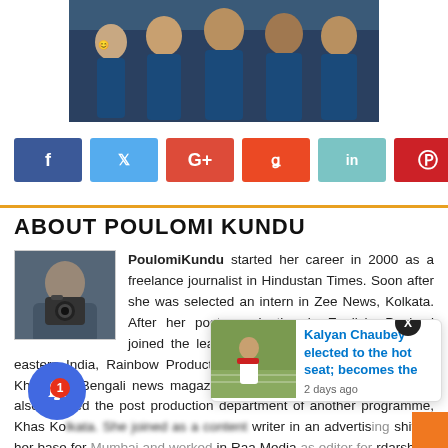[Figure (photo): Group photo of Indian athletes/wrestlers in blue uniforms]
[Figure (infographic): Social media share buttons: Facebook, Twitter, Google+, StumbleUpon, LinkedIn, Pinterest]
ABOUT POULOMI KUNDU
[Figure (photo): Profile photo of Poulomi Kundu with camera]
PoulomiKundu started her career in 2000 as a freelance journalist in Hindustan Times. Soon after she was selected an intern in Zee News, Kolkata. After her post- graduation in English, Poulomi joined the leading television production house of eastern India, Rainbow Productions. She was a journalist in Khas Khobor, a Bengali news magazine programme in Doordarshan and also headed the post production department of another programme, Khas Ko... writer in an advertis... shift... her base for... in Raa Media... rdarshan-Yuva and Paisa Vasool. In the meantime, she also wrote features in DNA as a freelancer. Poulomi directs promotional videos,
[Figure (photo): Popup card: Kalyan Chaubey at sports ground. Kalyan Chaubey elected to the hot seat; becomes the - 2 days ago]